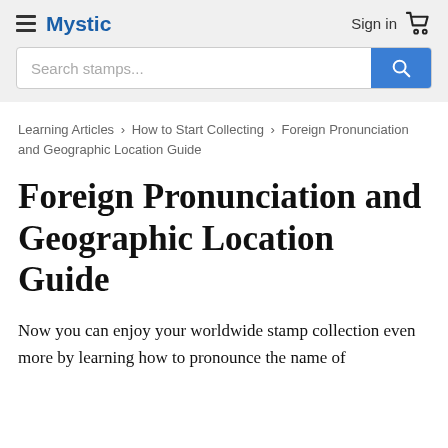Mystic — Sign in [cart]
Search stamps...
Learning Articles › How to Start Collecting › Foreign Pronunciation and Geographic Location Guide
Foreign Pronunciation and Geographic Location Guide
Now you can enjoy your worldwide stamp collection even more by learning how to pronounce the name of